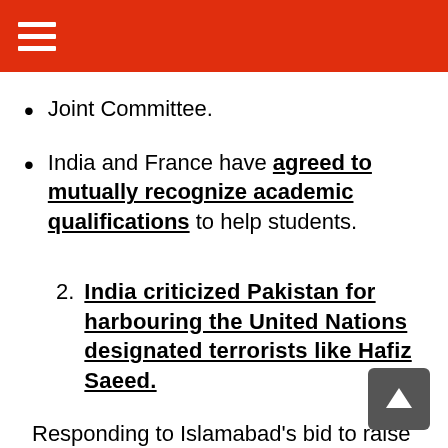India and France have agreed to mutually recognize academic qualifications to help students.
2. India criticized Pakistan for harbouring the United Nations designated terrorists like Hafiz Saeed.
Responding to Islamabad’s bid to raise the Kashmir issue at the UN Human Rights Council meeting in Geneva, Second Secretary at the India’s UN Mission said, in gross violation of a Council resolution, UN designated terrorists like Hafiz Saeed are freely operating with state support, and are being